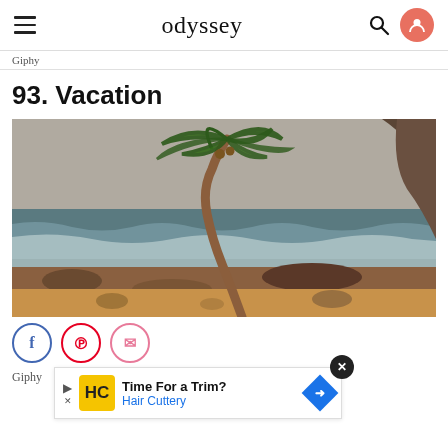odyssey
Giphy
93. Vacation
[Figure (photo): A leaning palm tree on a rocky beach with ocean waves and dramatic cliffs in the background, overcast sky.]
Giphy
Time For a Trim? Hair Cuttery